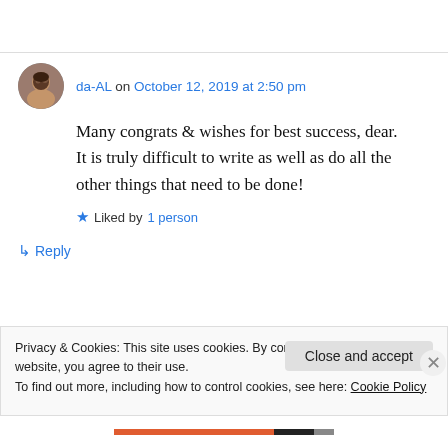da-AL on October 12, 2019 at 2:50 pm
Many congrats & wishes for best success, dear. It is truly difficult to write as well as do all the other things that need to be done!
Liked by 1 person
↳ Reply
Privacy & Cookies: This site uses cookies. By continuing to use this website, you agree to their use.
To find out more, including how to control cookies, see here: Cookie Policy
Close and accept